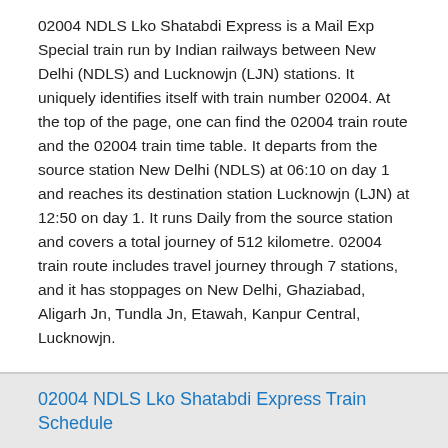02004 NDLS Lko Shatabdi Express is a Mail Exp Special train run by Indian railways between New Delhi (NDLS) and Lucknowjn (LJN) stations. It uniquely identifies itself with train number 02004. At the top of the page, one can find the 02004 train route and the 02004 train time table. It departs from the source station New Delhi (NDLS) at 06:10 on day 1 and reaches its destination station Lucknowjn (LJN) at 12:50 on day 1. It runs Daily from the source station and covers a total journey of 512 kilometre. 02004 train route includes travel journey through 7 stations, and it has stoppages on New Delhi, Ghaziabad, Aligarh Jn, Tundla Jn, Etawah, Kanpur Central, Lucknowjn.
02004 NDLS Lko Shatabdi Express Train Schedule
If we closely look at the 02004 train time table, travelling by 02004 NDLS Lko Shatabdi Express gives us a chance to explore the following cities in a quick view as they come along the route.